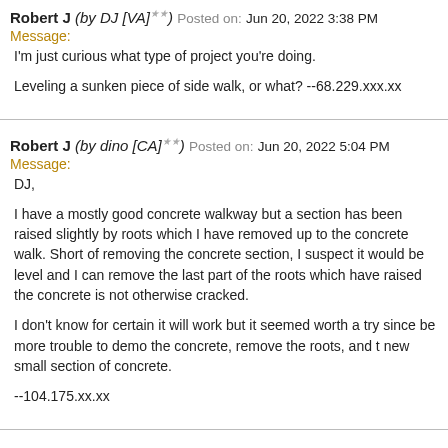Robert J (by DJ [VA]★★) Posted on: Jun 20, 2022 3:38 PM
Message:
I'm just curious what type of project you're doing.

Leveling a sunken piece of side walk, or what? --68.229.xxx.xx
Robert J (by dino [CA]★★) Posted on: Jun 20, 2022 5:04 PM
Message:
DJ,

I have a mostly good concrete walkway but a section has been raised slightly by roots which I have removed up to the concrete walk. Short of removing the concrete section, I suspect it would be level and I can remove the last part of the roots which have raised the concrete is not otherwise cracked.

I don't know for certain it will work but it seemed worth a try since be more trouble to demo the concrete, remove the roots, and t new small section of concrete.

--104.175.xx.xx